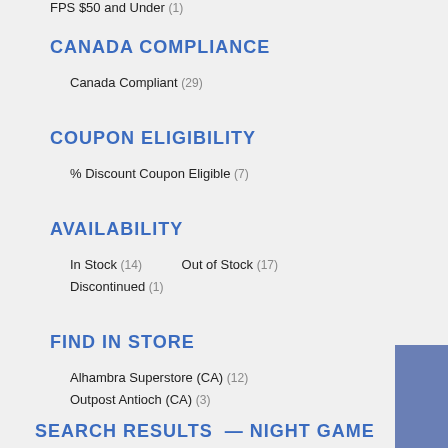FPS $50 and Under (1)
CANADA COMPLIANCE
Canada Compliant (29)
COUPON ELIGIBILITY
% Discount Coupon Eligible (7)
AVAILABILITY
In Stock (14)   Out of Stock (17)   Discontinued (1)
FIND IN STORE
Alhambra Superstore (CA) (12)   Outpost Antioch (CA) (3)
Outpost Houston (TX) (2)   Outpost Ontario (CA) (2)
SEARCH RESULTS — NIGHT GAME